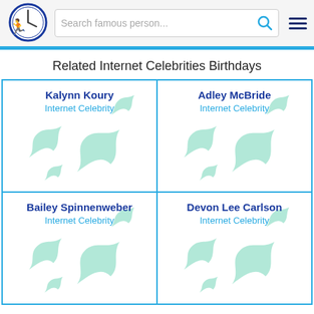Search famous person...
Related Internet Celebrities Birthdays
Kalynn Koury
Internet Celebrity
Adley McBride
Internet Celebrity
Bailey Spinnenweber
Internet Celebrity
Devon Lee Carlson
Internet Celebrity